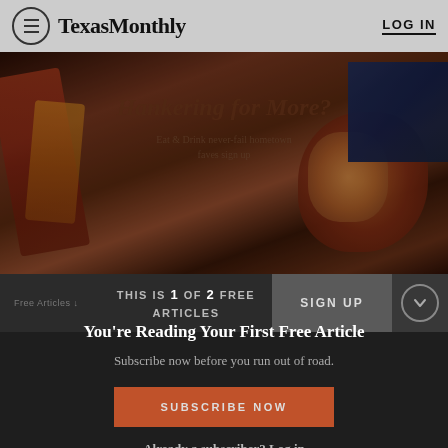Texas Monthly  LOG IN
[Figure (photo): Food photo background (fries, fried food) with overlaid text: Hankering for More? Eat & Drink never-fail hometown faves sign up]
THIS IS 1 OF 2 FREE ARTICLES
SIGN UP
You're Reading Your First Free Article
Subscribe now before you run out of road.
SUBSCRIBE NOW
Already a subscriber? Log in